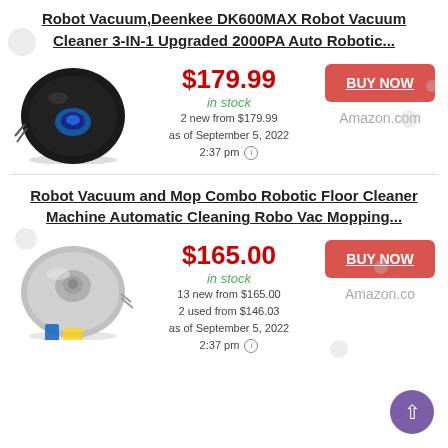Robot Vacuum,Deenkee DK600MAX Robot Vacuum Cleaner 3-IN-1 Upgraded 2000PA Auto Robotic...
[Figure (photo): Black circular robot vacuum (Deenkee DK600MAX) shown from above with a blue accent light]
$179.99
in stock
2 new from $179.99
as of September 5, 2022
2:37 pm
BUY NOW
Amazon.com
Robot Vacuum and Mop Combo Robotic Floor Cleaner Machine Automatic Cleaning Robo Vac Mopping...
[Figure (photo): Gray/silver circular robot vacuum and mop combo shown from a slight angle]
$165.00
in stock
13 new from $165.00
2 used from $146.03
as of September 5, 2022
2:37 pm
BUY NOW
Amazon.co